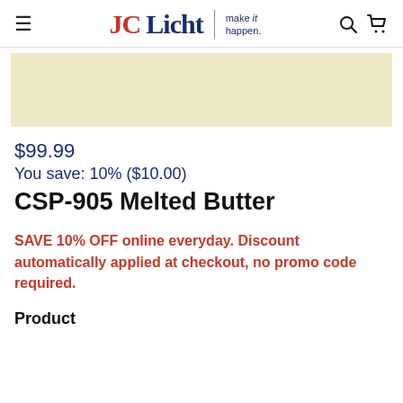JCLicht | make it happen.
[Figure (other): Color swatch rectangle showing a pale creamy yellow color (Melted Butter paint color sample)]
$99.99
You save: 10% ($10.00)
CSP-905 Melted Butter
SAVE 10% OFF online everyday. Discount automatically applied at checkout, no promo code required.
Product